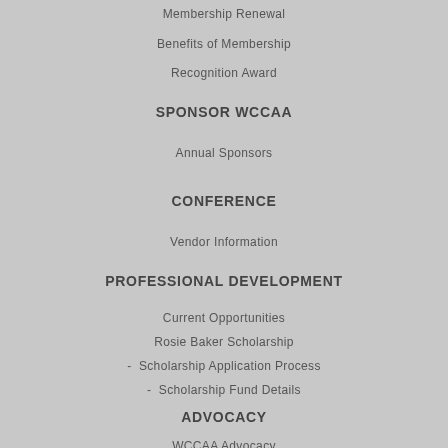Membership Renewal
Benefits of Membership
Recognition Award
SPONSOR WCCAA
Annual Sponsors
CONFERENCE
Vendor Information
PROFESSIONAL DEVELOPMENT
Current Opportunities
Rosie Baker Scholarship
- Scholarship Application Process
- Scholarship Fund Details
ADVOCACY
WCCAA Advocacy